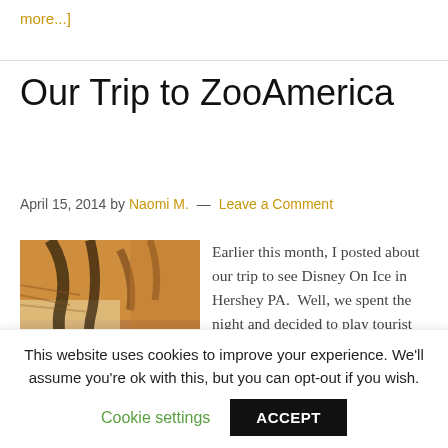more...]
Our Trip to ZooAmerica
April 15, 2014 by Naomi M.  —  Leave a Comment
[Figure (photo): Close-up photo of an animal, likely a tiger or large cat with stripes, showing fur and patterned texture]
Earlier this month, I posted about our trip to see Disney On Ice in Hershey PA.  Well, we spent the night and decided to play tourist the next day.  A field
This website uses cookies to improve your experience. We'll assume you're ok with this, but you can opt-out if you wish.
Cookie settings   ACCEPT